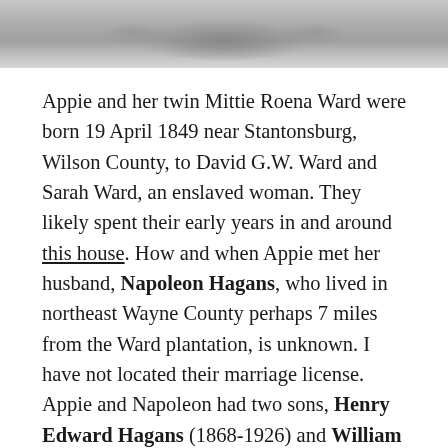[Figure (photo): Grayscale photograph showing the top portion of a historic house or building, cropped at top of page.]
Appie and her twin Mittie Roena Ward were born 19 April 1849 near Stantonsburg, Wilson County, to David G.W. Ward and Sarah Ward, an enslaved woman. They likely spent their early years in and around this house. How and when Appie met her husband, Napoleon Hagans, who lived in northeast Wayne County perhaps 7 miles from the Ward plantation, is unknown. I have not located their marriage license. Appie and Napoleon had two sons, Henry Edward Hagans (1868-1926) and William Scarlett